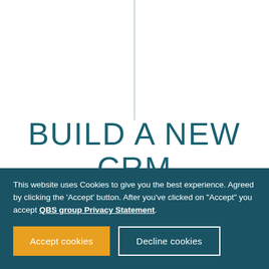BUILD A NEW CRM PRACTICE OR EXISTING PRACTICE
This website uses Cookies to give you the best experience. Agreed by clicking the 'Accept' button. After you've clicked on "Accept" you accept QBS group Privacy Statement.